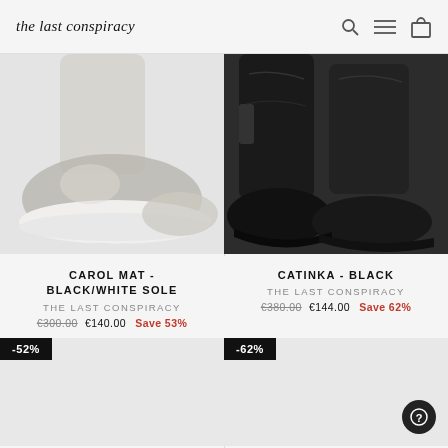the last conspiracy
[Figure (photo): Close-up of light gray/beige shoes with white platform soles on a mannequin foot, cropped at the ankle]
[Figure (photo): Close-up of black leather wedge ankle boots on dark background]
CAROL MAT - BLACK/WHITE SOLE
THE LAST CONSPIRACY
€300.00 €140.00 Save 53%
CATINKA - BLACK
THE LAST CONSPIRACY
€380.00 €144.00 Save 62%
[Figure (photo): Partially visible shoe product with -52% discount badge]
[Figure (photo): Partially visible shoe product with -62% discount badge]